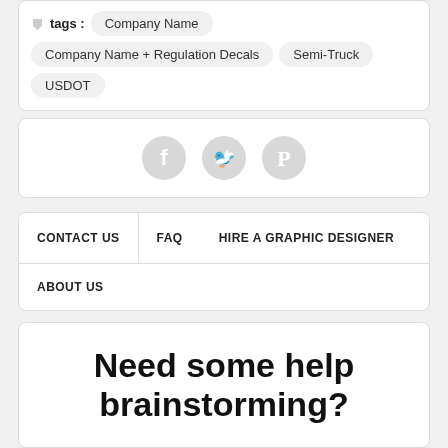tags: Company Name
Company Name + Regulation Decals
Semi-Truck
USDOT
[Figure (illustration): Social media icons: Facebook, Twitter, Pinterest (grey circles)]
CONTACT US   FAQ   HIRE A GRAPHIC DESIGNER
ABOUT US
Need some help brainstorming?